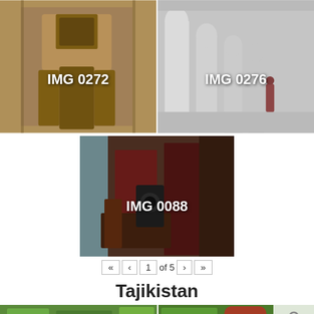[Figure (photo): Photo of an ornate Islamic architecture building facade with tilework, labeled IMG 0272]
[Figure (photo): Photo of a white arched corridor/hallway with a figure in the distance, labeled IMG 0276]
[Figure (photo): Photo of an interior room with textiles/carpets and furnishings, labeled IMG 0088]
« ‹ 1 of 5 › »
Tajikistan
[Figure (photo): Partial thumbnail images of two photos (green foliage scenes)]
Advertisements
The Platform Where WordPress Works Best   P Pressable